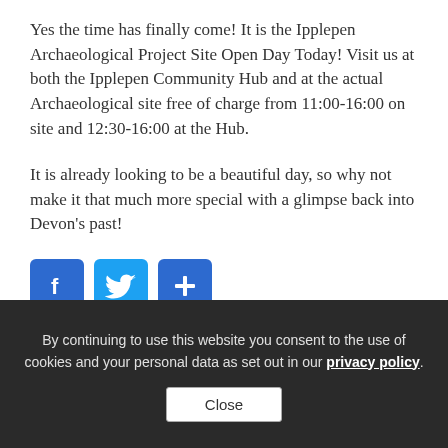Yes the time has finally come! It is the Ipplepen Archaeological Project Site Open Day Today! Visit us at both the Ipplepen Community Hub and at the actual Archaeological site free of charge from 11:00-16:00 on site and 12:30-16:00 at the Hub.
It is already looking to be a beautiful day, so why not make it that much more special with a glimpse back into Devon’s past!
[Figure (infographic): Three social sharing buttons: Facebook (blue with f icon), Twitter (blue with bird icon), and a share/plus button (blue with + icon)]
By continuing to use this website you consent to the use of cookies and your personal data as set out in our privacy policy. Close